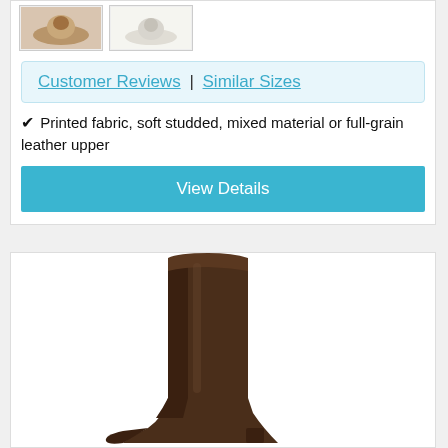[Figure (photo): Two small thumbnail images of shoes in a product listing card]
Customer Reviews | Similar Sizes
✔ Printed fabric, soft studded, mixed material or full-grain leather upper
View Details
[Figure (photo): Brown tall leather boot product photo on white background]